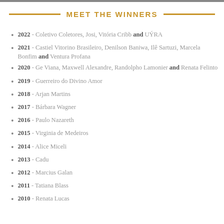MEET THE WINNERS
2022 - Coletivo Coletores, Josi, Vitória Cribb and UÝRA
2021 - Castiel Vitorino Brasileiro, Denilson Baniwa, Ilê Sartuzi, Marcela Bonfim and Ventura Profana
2020 - Ge Viana, Maxwell Alexandre, Randolpho Lamonier and Renata Felinto
2019 - Guerreiro do Divino Amor
2018 - Arjan Martins
2017 - Bárbara Wagner
2016 - Paulo Nazareth
2015 - Virginia de Medeiros
2014 - Alice Miceli
2013 - Cadu
2012 - Marcius Galan
2011 - Tatiana Blass
2010 - Renata Lucas